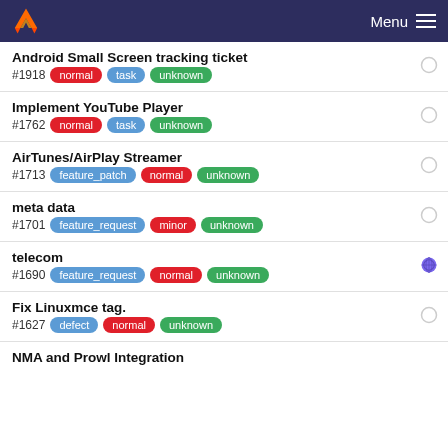Menu
Android Small Screen tracking ticket
#1918  normal  task  unknown
Implement YouTube Player
#1762  normal  task  unknown
AirTunes/AirPlay Streamer
#1713  feature_patch  normal  unknown
meta data
#1701  feature_request  minor  unknown
telecom
#1690  feature_request  normal  unknown
Fix Linuxmce tag.
#1627  defect  normal  unknown
NMA and Prowl Integration